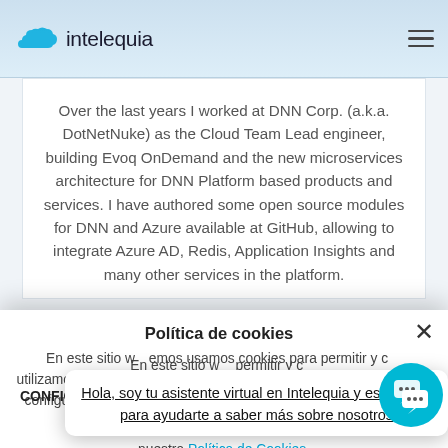intelequia
Over the last years I worked at DNN Corp. (a.k.a. DotNetNuke) as the Cloud Team Lead engineer, building Evoq OnDemand and the new microservices architecture for DNN Platform based products and services. I have authored some open source modules for DNN and Azure available at GitHub, allowing to integrate Azure AD, Redis, Application Insights and many other services in the platform.
Política de cookies
En este sitio w... permitir y c... utilizamos cook... estadísticas y conocer el trafico de la web. Puede configurar el uso de Cookies tal y como se exp... nuestra Política de Cookies.
Hola, soy tu asistente virtual en Intelequia y estoy aquí para ayudarte a saber más sobre nosotros
CONFIGURAR COOKIES
ACEPTAR COOKIES
local people know the best ones.